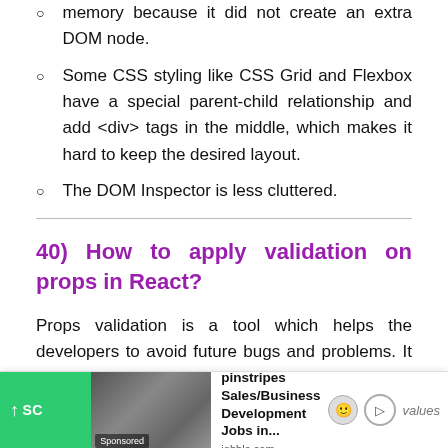memory because it did not create an extra DOM node.
Some CSS styling like CSS Grid and Flexbox have a special parent-child relationship and add <div> tags in the middle, which makes it hard to keep the desired layout.
The DOM Inspector is less cluttered.
40) How to apply validation on props in React?
Props validation is a tool which helps the developers to avoid future bugs and problems. It makes your code more readable. React components use PropTypes that help you to